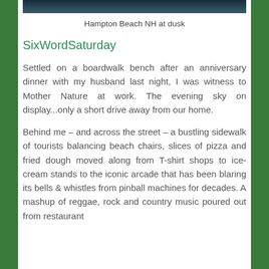[Figure (photo): Dark photo strip of Hampton Beach NH at dusk, showing waterfront scene with dark sky]
Hampton Beach NH at dusk
SixWordSaturday
Settled on a boardwalk bench after an anniversary dinner with my husband last night, I was witness to Mother Nature at work. The evening sky on display...only a short drive away from our home.
Behind me – and across the street – a bustling sidewalk of tourists balancing beach chairs, slices of pizza and fried dough moved along from T-shirt shops to ice-cream stands to the iconic arcade that has been blaring its bells & whistles from pinball machines for decades. A mashup of reggae, rock and country music poured out from restaurant